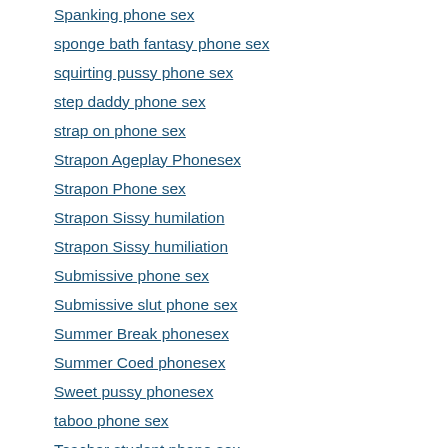Spanking phone sex
sponge bath fantasy phone sex
squirting pussy phone sex
step daddy phone sex
strap on phone sex
Strapon Ageplay Phonesex
Strapon Phone sex
Strapon Sissy humilation
Strapon Sissy humiliation
Submissive phone sex
Submissive slut phone sex
Summer Break phonesex
Summer Coed phonesex
Sweet pussy phonesex
taboo phone sex
Teacher student phone sex
Teasing phone sex
Teen phone sex